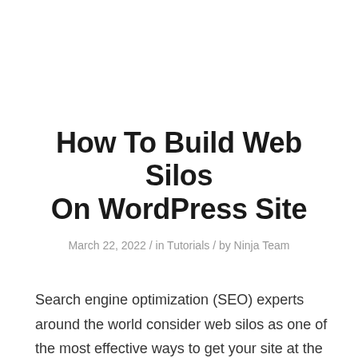How To Build Web Silos On WordPress Site
March 22, 2022 / in Tutorials / by Ninja Team
Search engine optimization (SEO) experts around the world consider web silos as one of the most effective ways to get your site at the top of Google's search engine results pages (SERPs).